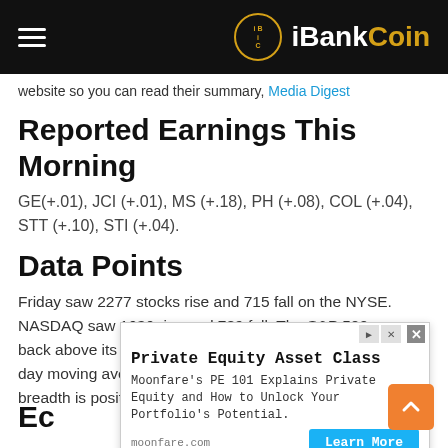iBankCoin
website so you can read their summary, Media Digest
Reported Earnings This Morning
GE(+.01), JCI (+.01), MS (+.18), PH (+.08), COL (+.04), STT (+.10), STI (+.04).
Data Points
Friday saw 2277 stocks rise and 715 fall on the NYSE. NASDAQ saw 1636 rise and 789 fall. The S&P 500 now back above its 50 day moving average and above the 200 day moving average. The 10 day spread moving average of breadth is positive. We are back to invested on t
[Figure (other): Advertisement overlay: Private Equity Asset Class - Moonfare's PE 101 Explains Private Equity and How to Unlock Your Portfolio's Potential. moonfare.com. Learn More button.]
Ec...